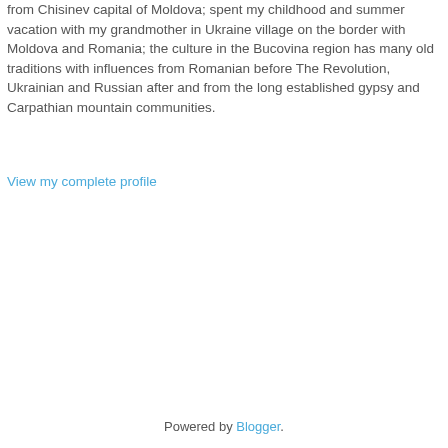from Chisinev capital of Moldova; spent my childhood and summer vacation with my grandmother in Ukraine village on the border with Moldova and Romania; the culture in the Bucovina region has many old traditions with influences from Romanian before The Revolution, Ukrainian and Russian after and from the long established gypsy and Carpathian mountain communities.
View my complete profile
Powered by Blogger.